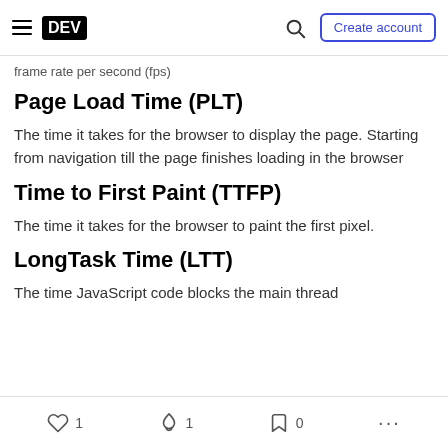DEV — Create account
Frame rate per second (FPS)
Page Load Time (PLT)
The time it takes for the browser to display the page. Starting from navigation till the page finishes loading in the browser
Time to First Paint (TTFP)
The time it takes for the browser to paint the first pixel.
LongTask Time (LTT)
The time JavaScript code blocks the main thread
1  1  0  ...